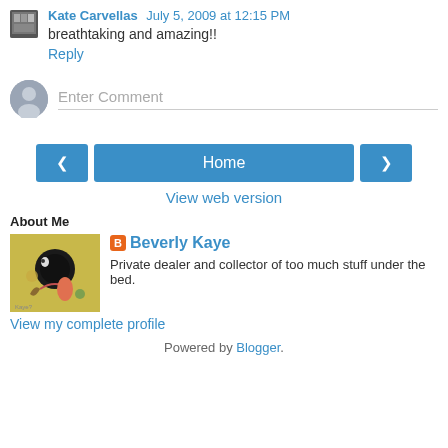Kate Carvellas July 5, 2009 at 12:15 PM
breathtaking and amazing!!
Reply
Enter Comment
Home
View web version
About Me
Beverly Kaye
Private dealer and collector of too much stuff under the bed.
View my complete profile
Powered by Blogger.